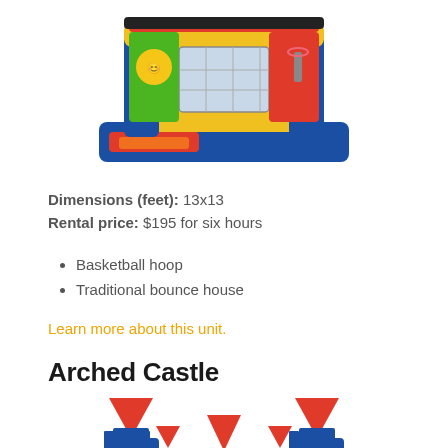[Figure (photo): Colorful inflatable bounce house with blue base, yellow and red panels, mesh window, and cartoon character graphics, viewed from the front-side angle]
Dimensions (feet): 13x13
Rental price: $195 for six hours
Basketball hoop
Traditional bounce house
Learn more about this unit.
Arched Castle
[Figure (photo): Colorful inflatable arched castle with red pointed turrets, blue and gold columns, and yellow/red arch entrance, viewed from the front]